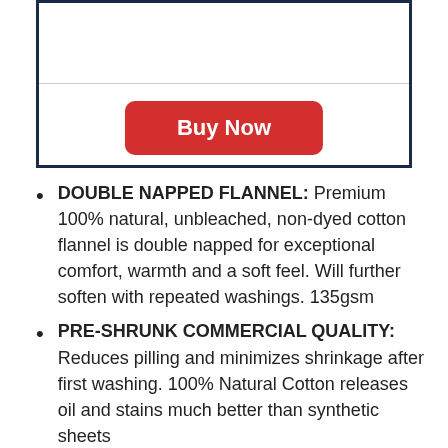[Figure (other): Product listing box with a horizontal divider line and a red 'Buy Now' button centered below the divider]
DOUBLE NAPPED FLANNEL: Premium 100% natural, unbleached, non-dyed cotton flannel is double napped for exceptional comfort, warmth and a soft feel. Will further soften with repeated washings. 135gsm
PRE-SHRUNK COMMERCIAL QUALITY: Reduces pilling and minimizes shrinkage after first washing. 100% Natural Cotton releases oil and stains much better than synthetic sheets